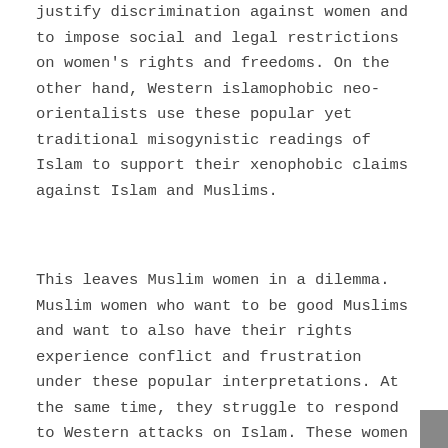justify discrimination against women and to impose social and legal restrictions on women's rights and freedoms. On the other hand, Western islamophobic neo-orientalists use these popular yet traditional misogynistic readings of Islam to support their xenophobic claims against Islam and Muslims.
This leaves Muslim women in a dilemma. Muslim women who want to be good Muslims and want to also have their rights experience conflict and frustration under these popular interpretations. At the same time, they struggle to respond to Western attacks on Islam. These women (and men) react defensively that "Islam has are and